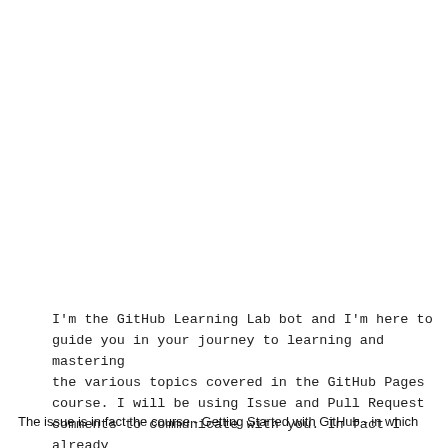I'm the GitHub Learning Lab bot and I'm here to guide you in your journey to learning and mastering the various topics covered in the GitHub Pages course. I will be using Issue and Pull Request comments to communicate with you. In fact I already added an issue for you to checkout.
The issue is in fact the course - Getting Started with GitHub -  in which